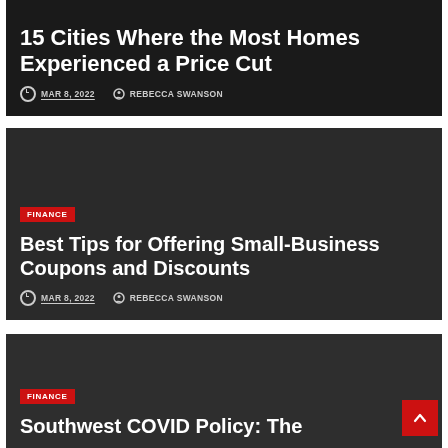15 Cities Where the Most Homes Experienced a Price Cut
MAR 8, 2022  REBECCA SWANSON
FINANCE
Best Tips for Offering Small-Business Coupons and Discounts
MAR 8, 2022  REBECCA SWANSON
FINANCE
Southwest COVID Policy: The